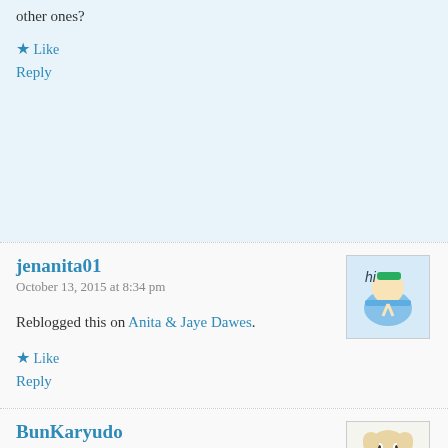other ones?
★ Like
Reply
jenanita01
October 13, 2015 at 8:34 pm
Reblogged this on Anita & Jaye Dawes.
★ Like
Reply
BunKaryudo
October 14, 2015 at 2:34 am
Congratulations on getting off to such a good start. It's so useful to get honest information about this topic. There's so much helpful insight that you...